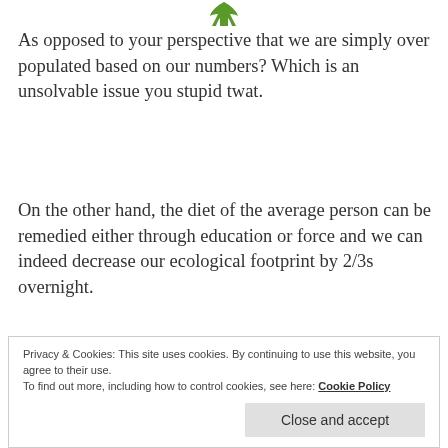[Figure (logo): Green cannabis/maple leaf logo icon at top center]
As opposed to your perspective that we are simply over populated based on our numbers? Which is an unsolvable issue you stupid twat.
On the other hand, the diet of the average person can be remedied either through education or force and we can indeed decrease our ecological footprint by 2/3s overnight.
Privacy & Cookies: This site uses cookies. By continuing to use this website, you agree to their use.
To find out more, including how to control cookies, see here: Cookie Policy
Close and accept